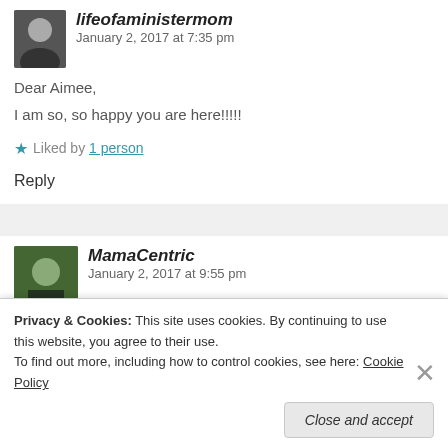lifeofaministermom January 2, 2017 at 7:35 pm
Dear Aimee,
I am so, so happy you are here!!!!!
★ Liked by 1 person
Reply
MamaCentric January 2, 2017 at 9:55 pm
Privacy & Cookies: This site uses cookies. By continuing to use this website, you agree to their use. To find out more, including how to control cookies, see here: Cookie Policy
Close and accept